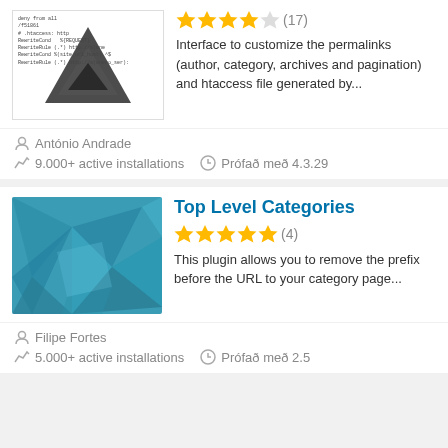[Figure (screenshot): Plugin icon with dark arrow/tent logo and code text overlay]
Interface to customize the permalinks (author, category, archives and pagination) and htaccess file generated by...
3.5 stars (17)
António Andrade
9.000+ active installations
Prófað með 4.3.29
[Figure (screenshot): Teal geometric low-poly plugin icon for Top Level Categories]
Top Level Categories
5 stars (4)
This plugin allows you to remove the prefix before the URL to your category page...
Filipe Fortes
5.000+ active installations
Prófað með 2.5